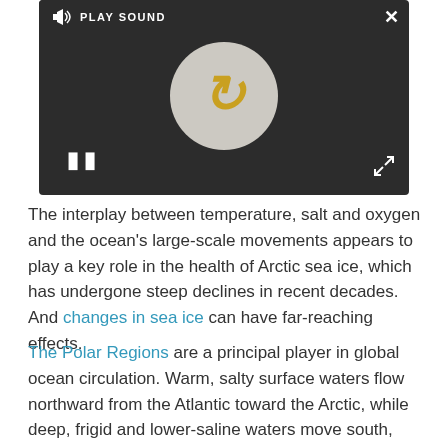[Figure (screenshot): A dark video player interface showing a loading spinner (circle with gold C), a pause button (two vertical bars), a PLAY SOUND button in the top-left, a close X button in the top-right, and an expand icon in the bottom-right.]
The interplay between temperature, salt and oxygen and the ocean's large-scale movements appears to play a key role in the health of Arctic sea ice, which has undergone steep declines in recent decades. And changes in sea ice can have far-reaching effects.
The Polar Regions are a principal player in global ocean circulation. Warm, salty surface waters flow northward from the Atlantic toward the Arctic, while deep, frigid and lower-saline waters move south, creeping into the world's other ocean basins. Global warming appears to be changing this large-scale